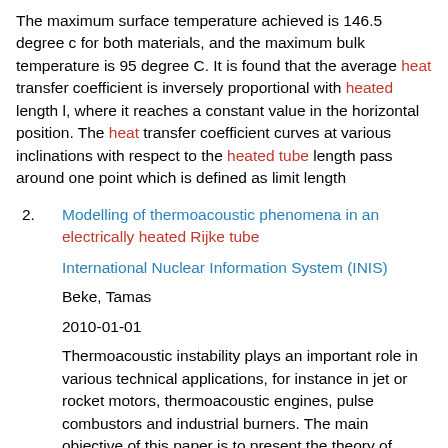The maximum surface temperature achieved is 146.5 degree c for both materials, and the maximum bulk temperature is 95 degree C. It is found that the average heat transfer coefficient is inversely proportional with heated length l, where it reaches a constant value in the horizontal position. The heat transfer coefficient curves at various inclinations with respect to the heated tube length pass around one point which is defined as limit length
Modelling of thermoacoustic phenomena in an electrically heated Rijke tube
International Nuclear Information System (INIS)
Beke, Tamas
2010-01-01
Thermoacoustic instability plays an important role in various technical applications, for instance in jet or rocket motors, thermoacoustic engines, pulse combustors and industrial burners. The main objective of this paper is to present the theory of thermoacoustic oscillations, and for this purpose a Rijke-type thermal device was built. The Rijke tube is a simple